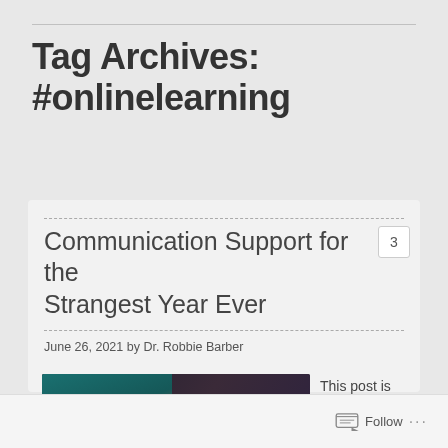Tag Archives: #onlinelearning
Communication Support for the Strangest Year Ever
June 26, 2021 by Dr. Robbie Barber
[Figure (photo): Meme image of a hooded figure (Emperor Palpatine from Star Wars) with text overlay reading 'I FIND YOUR LA OF COMMUNIC DISTURBING']
This post is Week 3 of 8 in the